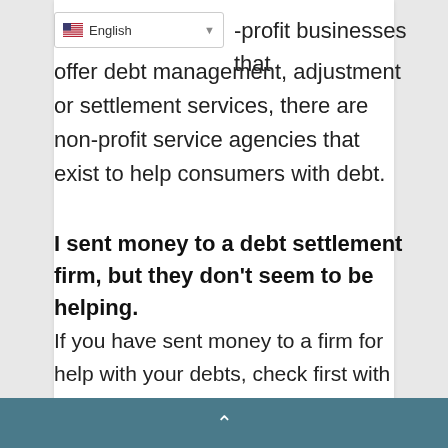[Figure (other): Language selector dropdown showing English with US flag]
-profit businesses that offer debt management, adjustment or settlement services, there are non-profit service agencies that exist to help consumers with debt.
I sent money to a debt settlement firm, but they don't seem to be helping.
If you have sent money to a firm for help with your debts, check first with the Dept. of Financial Regulation to be sure they are licensed in Vermont. If they are not, contact us to file a complaint. We will forward your
▲